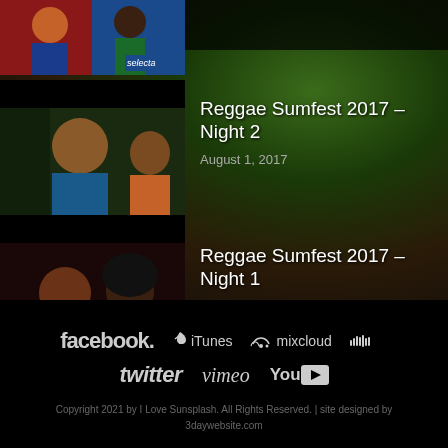[Figure (photo): Small thumbnail photo at top showing two people with Canadian/Jamaican flags and a 'Selecta' label overlay]
Reggae Sumfest 2017 – Night 2
August 1, 2017
[Figure (photo): Thumbnail photo showing a smiling man in a blue shirt at an outdoor event]
Reggae Sumfest 2017 – Night 1
July 31, 2017
[Figure (photo): Thumbnail photo showing two women at an event with Sumfest branding visible]
[Figure (logo): Social media logos: facebook, iTunes, mixcloud, soundcloud, twitter, vimeo, YouTube]
Copyright 2021 by I Love Sunsplash. All Rights Reserved. | site designed by 3daywebsite.com
↑ BACK TO THE TOP ↑